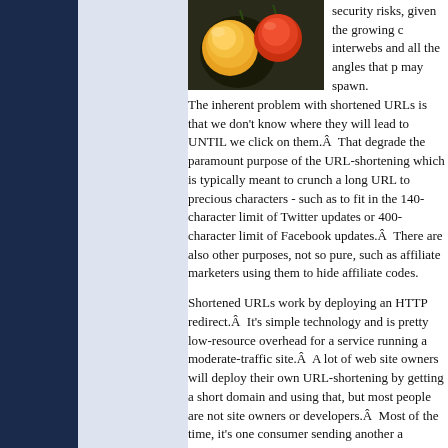[Figure (photo): Close-up photograph of red and yellow round berries or fruits against a dark background]
The inherent problem with shortened URLs is that we don't know where they will lead to UNTIL we click on them.Â  That degrade the paramount purpose of the URL-shortening which is typically meant to crunch a long URL to precious characters - such as to fit in the 140-character limit of Twitter updates or 400-character limit of Facebook updates.Â  There are also other purposes, not so pure, such as affiliate marketers using them to hide affiliate codes.
Shortened URLs work by deploying an HTTP redirect.Â  It's simple technology and is pretty low-resource overhead for a service running a moderate-traffic site.Â  A lot of web site owners will deploy their own URL-shortening by getting a short domain and using that, but most people are not site owners or developers.Â  Most of the time, it's one consumer sending another a shortened URL and their choice of URL shortening is limited and often dictated by what phishing attacks exploit.
Here’s what I propose:
Most of the purpose behind URL-shortening is for delivery and is usually a limitation of the technology used to display the URL.Â  For example, Twitter imposes a 140-character limit solely because they only want to send 140 characters.Â  Once the message is delivered to the recipient, there is no longer a need to limit how the message is displayed.Â  If someone sends you a tweet and you view it on your phone, more often than not